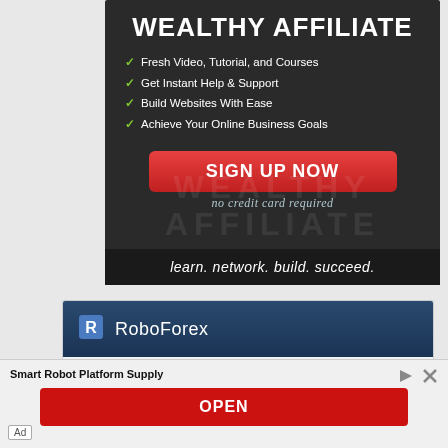[Figure (infographic): Wealthy Affiliate promotional banner. Dark background with white bold title WEALTHY AFFILIATE, green checkmark list items (Fresh Video Tutorial and Courses, Get Instant Help & Support, Build Websites With Ease, Achieve Your Online Business Goals), red SIGN UP NOW button, italic text 'no credit card required', and tagline 'learn. network. build. succeed.' at bottom.]
[Figure (screenshot): RoboForex forex trading widget showing logo header bar in dark blue, table with columns Symbol, Price, Chg.(%), Spread. Row 1: EURUSD, up-arrow 0.99556, 0.08% (blue), 0.1. Row 2 partially visible: GBPUSD, up-arrow 1.15071 (partial), 0.21% (red, partial), 1.4 (partial).]
Smart Robot Platform Supply
OPEN